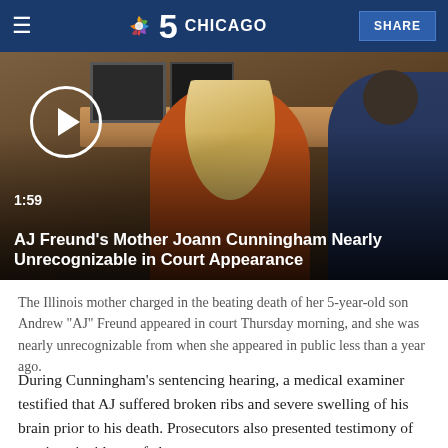NBC 5 Chicago
[Figure (screenshot): Video thumbnail showing a woman with long blonde hair in an orange top viewed from behind in a courtroom setting, with a play button overlay. Duration label '1:59' and title 'AJ Freund's Mother Joann Cunningham Nearly Unrecognizable in Court Appearance'.]
The Illinois mother charged in the beating death of her 5-year-old son Andrew "AJ" Freund appeared in court Thursday morning, and she was nearly unrecognizable from when she appeared in public less than a year ago.
During Cunningham's sentencing hearing, a medical examiner testified that AJ suffered broken ribs and severe swelling of his brain prior to his death. Prosecutors also presented testimony of previous incidents of abuse.